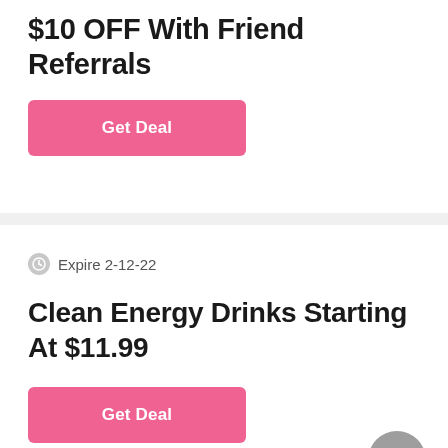$10 OFF With Friend Referrals
Get Deal
Expire 2-12-22
Clean Energy Drinks Starting At $11.99
Get Deal
Expire 4-9-22